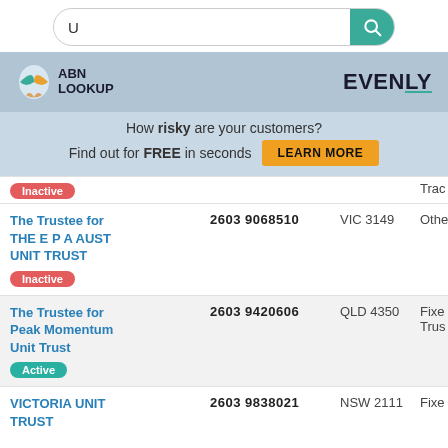[Figure (screenshot): Search bar with letter U and teal search button]
[Figure (logo): ABN Lookup logo with hot air balloon icon and Evenly logo]
How risky are your customers? Find out for FREE in seconds LEARN MORE
| Entity Name | ABN | Location | Type |
| --- | --- | --- | --- |
| [partial row] Inactive |  |  | Trac |
| The Trustee for THE E P A AUST UNIT TRUST Inactive | 2603 9068510 | VIC 3149 | Othe |
| The Trustee for Peak Momentum Unit Trust Active | 2603 9420606 | QLD 4350 | Fixe Trus |
| VICTORIA UNIT TRUST | 2603 9838021 | NSW 2111 | Fixe |